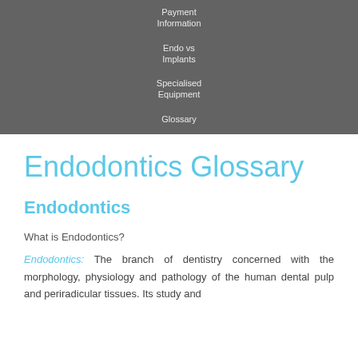Payment Information
Endo vs Implants
Specialised Equipment
Glossary
Endodontics Glossary
Endodontics
What is Endodontics?
Endodontics: The branch of dentistry concerned with the morphology, physiology and pathology of the human dental pulp and periradicular tissues. Its study and